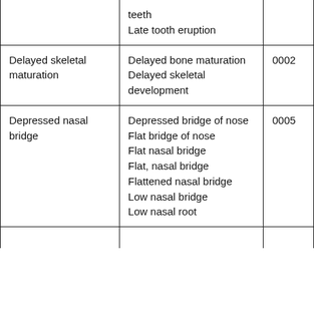| Term | Synonyms | Code |
| --- | --- | --- |
|  | teeth
Late tooth eruption |  |
| Delayed skeletal maturation | Delayed bone maturation
Delayed skeletal development | 0002... |
| Depressed nasal bridge | Depressed bridge of nose
Flat bridge of nose
Flat nasal bridge
Flat, nasal bridge
Flattened nasal bridge
Low nasal bridge
Low nasal root | 0005... |